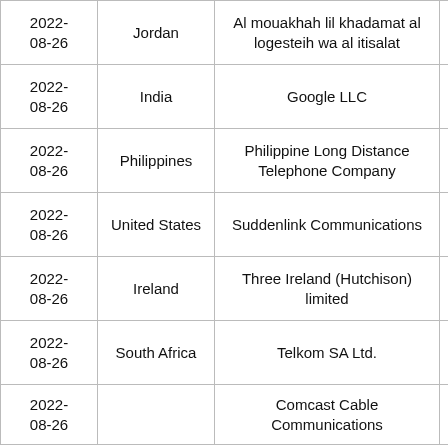| 2022-08-26 | Jordan | Al mouakhah lil khadamat al logesteih wa al itisalat | 230 |
| 2022-08-26 | India | Google LLC | 632 |
| 2022-08-26 | Philippines | Philippine Long Distance Telephone Company | 442 |
| 2022-08-26 | United States | Suddenlink Communications | 121 |
| 2022-08-26 | Ireland | Three Ireland (Hutchison) limited | 204 |
| 2022-08-26 | South Africa | Telkom SA Ltd. | 506 |
| 2022-08-26 |  | Comcast Cable Communications | 80.1 |